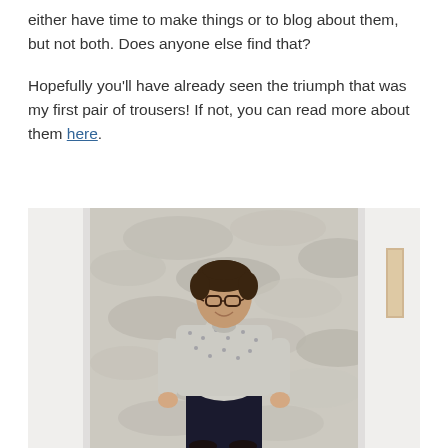either have time to make things or to blog about them, but not both. Does anyone else find that?
Hopefully you'll have already seen the triumph that was my first pair of trousers! If not, you can read more about them here.
[Figure (photo): A person with short dark hair and glasses, wearing a floral/patterned light-coloured long-sleeve shirt and dark trousers, standing in front of a stone wall between two white door frames.]